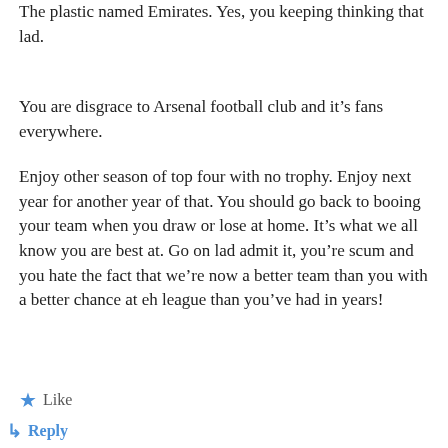The plastic named Emirates. Yes, you keeping thinking that lad.
You are disgrace to Arsenal football club and it’s fans everywhere.
Enjoy other season of top four with no trophy. Enjoy next year for another year of that. You should go back to booing your team when you draw or lose at home. It’s what we all know you are best at. Go on lad admit it, you’re scum and you hate the fact that we’re now a better team than you with a better chance at eh league than you’ve had in years!
★ Like
↳ Reply